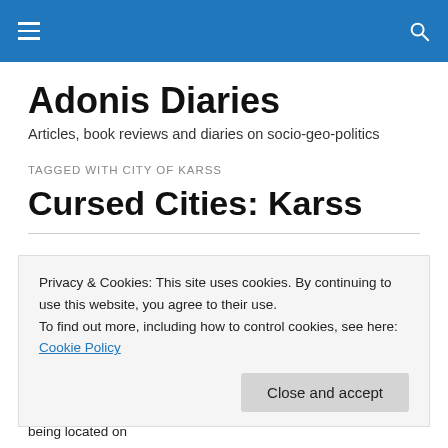Adonis Diaries – navigation bar with hamburger menu and search icon
Adonis Diaries
Articles, book reviews and diaries on socio-geo-politics
TAGGED WITH CITY OF KARSS
Cursed Cities: Karss
Privacy & Cookies: This site uses cookies. By continuing to use this website, you agree to their use.
To find out more, including how to control cookies, see here: Cookie Policy
active volcanoes such as Pompeii in Italy, others because of being located on